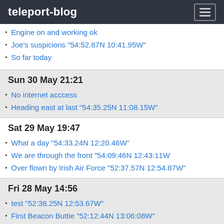teleport-blog
Engine on and working ok
Joe's suspicions "54:52.87N 10:41.95W"
So far today
Sun 30 May 21:21
No internet acccess
Heading east at last "54:35.25N 11:08.15W"
Sat 29 May 19:47
What a day "54:33.24N 12:20.46W"
We are through the front "54:09:46N 12:43:11W
Over flown by Irish Air Force "52:37.57N 12:54.87W"
Fri 28 May 14:56
test "52:38.25N 12:53.67W"
First Beacon Buttie "52:12:44N 13:06:08W"
No engine "52:09.74N 13:06.48W"
Thu 27 May 18:37
A good day on a beautiful day on a Bue Ocean "51:18.93N 13:19.74W"
Sunny and windy "50:59.21N 13:13.15W"